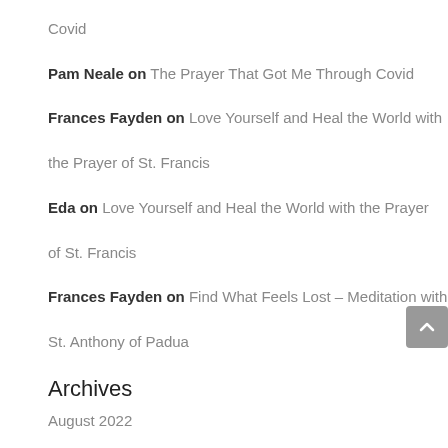Covid
Pam Neale on The Prayer That Got Me Through Covid
Frances Fayden on Love Yourself and Heal the World with the Prayer of St. Francis
Eda on Love Yourself and Heal the World with the Prayer of St. Francis
Frances Fayden on Find What Feels Lost – Meditation with St. Anthony of Padua
Archives
August 2022